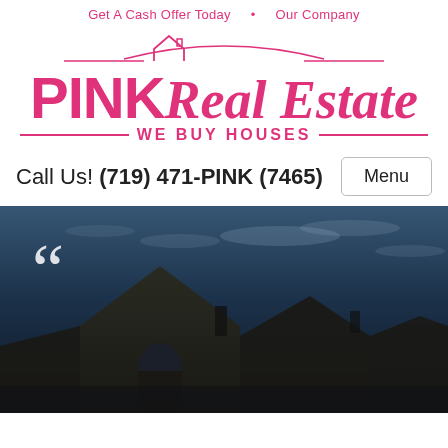Get A Cash Offer Today   Our Company
[Figure (logo): PINK Real Estate - We Buy Houses logo with house roofline graphic above text and decorative lines flanking 'WE BUY HOUSES' tagline]
Call Us! (719) 471-PINK (7465)   Menu
[Figure (photo): Hero image showing a house with tile roof at dusk/night with dark cloudy sky and large white opening quotation marks overlay in the upper left corner]